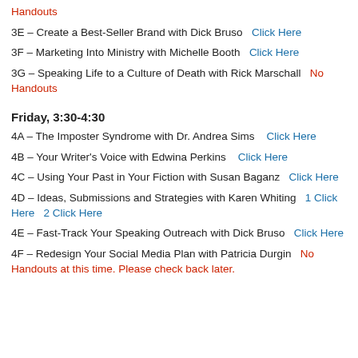Handouts
3E – Create a Best-Seller Brand with Dick Bruso   Click Here
3F – Marketing Into Ministry with Michelle Booth   Click Here
3G – Speaking Life to a Culture of Death with Rick Marschall   No Handouts
Friday, 3:30-4:30
4A – The Imposter Syndrome with Dr. Andrea Sims   Click Here
4B – Your Writer's Voice with Edwina Perkins   Click Here
4C – Using Your Past in Your Fiction with Susan Baganz   Click Here
4D – Ideas, Submissions and Strategies with Karen Whiting   1 Click Here   2 Click Here
4E – Fast-Track Your Speaking Outreach with Dick Bruso   Click Here
4F – Redesign Your Social Media Plan with Patricia Durgin   No Handouts at this time. Please check back later.